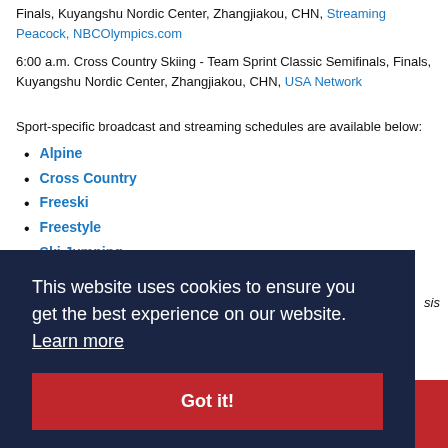Finals, Kuyangshu Nordic Center, Zhangjiakou, CHN, Streaming Peacock, NBCOlympics.com
6:00 a.m. Cross Country Skiing - Team Sprint Classic Semifinals, Finals, Kuyangshu Nordic Center, Zhangjiakou, CHN, USA Network
Sport-specific broadcast and streaming schedules are available below:
Alpine
Cross Country
Freeski
Freestyle
Ski Jumping
[Figure (screenshot): Cookie consent banner overlay with dark navy background. Text reads: 'This website uses cookies to ensure you get the best experience on our website. Learn more' with a red 'Got it!' button below.]